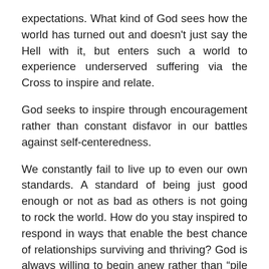expectations. What kind of God sees how the world has turned out and doesn't just say the Hell with it, but enters such a world to experience underserved suffering via the Cross to inspire and relate.
God seeks to inspire through encouragement rather than constant disfavor in our battles against self-centeredness.
We constantly fail to live up to even our own standards. A standard of being just good enough or not as bad as others is not going to rock the world. How do you stay inspired to respond in ways that enable the best chance of relationships surviving and thriving? God is always willing to begin anew rather than “pile on” as we sometimes experience from humans.
An inspirational God can give hope to the hopeless in